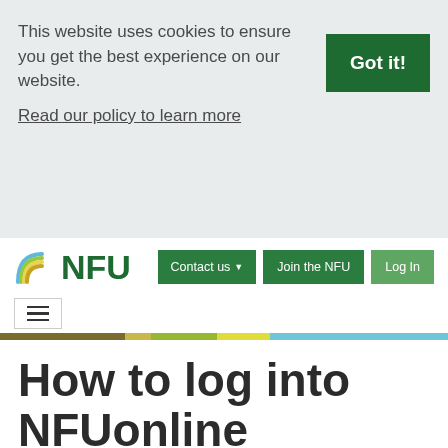This website uses cookies to ensure you get the best experience on our website.
Read our policy to learn more
Got it!
[Figure (logo): NFU logo with rainbow arc and green NFU text]
Contact us
Join the NFU
Log In
How to log into NFUonline